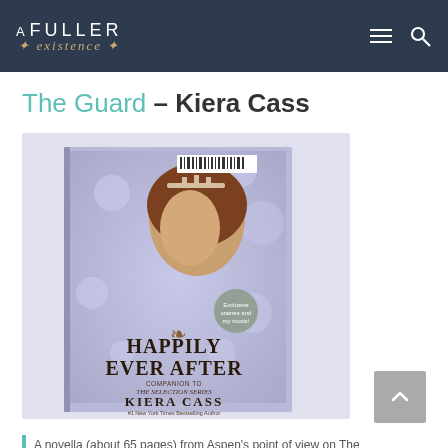A Fuller Existence — navigation header
The Guard – Kiera Cass
[Figure (photo): A photograph of the hardcover book 'Happily Ever After: Companion to The Selection Series' by Kiera Cass. The cover shows a young woman with auburn hair worn up, wearing a tiara, against a purple bokeh background. The book is lying flat on a light surface.]
A novella (about 65 pages) from Aspen's point of view on The